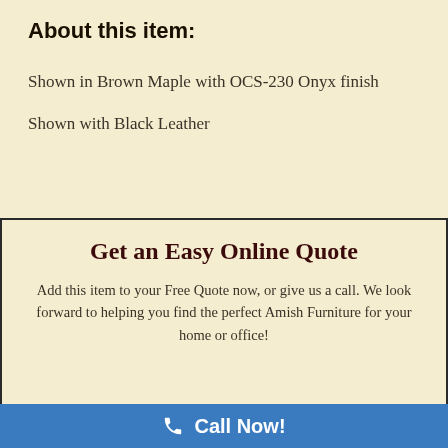About this item:
Shown in Brown Maple with OCS-230 Onyx finish
Shown with Black Leather
Get an Easy Online Quote
Add this item to your Free Quote now, or give us a call. We look forward to helping you find the perfect Amish Furniture for your home or office!
Call Now!